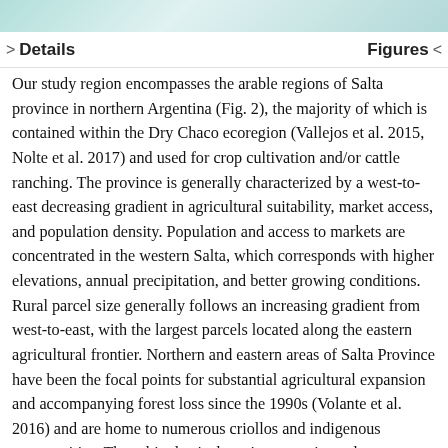Details   Figures
Our study region encompasses the arable regions of Salta province in northern Argentina (Fig. 2), the majority of which is contained within the Dry Chaco ecoregion (Vallejos et al. 2015, Nolte et al. 2017) and used for crop cultivation and/or cattle ranching. The province is generally characterized by a west-to-east decreasing gradient in agricultural suitability, market access, and population density. Population and access to markets are concentrated in the western Salta, which corresponds with higher elevations, annual precipitation, and better growing conditions. Rural parcel size generally follows an increasing gradient from west-to-east, with the largest parcels located along the eastern agricultural frontier. Northern and eastern areas of Salta Province have been the focal points for substantial agricultural expansion and accompanying forest loss since the 1990s (Volante et al. 2016) and are home to numerous criollos and indigenous communities. These biophysical, socioeconomic, and sociopolitical gradients have historically shaped much of the LUC in Salta Province.